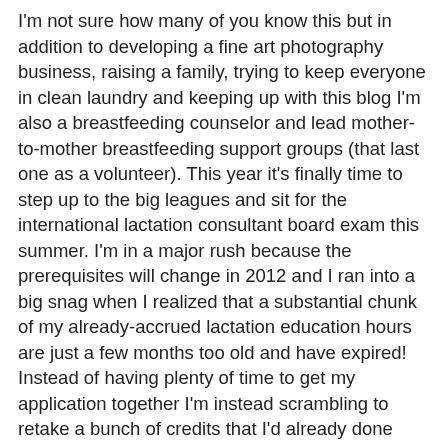I'm not sure how many of you know this but in addition to developing a fine art photography business, raising a family, trying to keep everyone in clean laundry and keeping up with this blog I'm also a breastfeeding counselor and lead mother-to-mother breastfeeding support groups (that last one as a volunteer). This year it's finally time to step up to the big leagues and sit for the international lactation consultant board exam this summer. I'm in a major rush because the prerequisites will change in 2012 and I ran into a big snag when I realized that a substantial chunk of my already-accrued lactation education hours are just a few months too old and have expired! Instead of having plenty of time to get my application together I'm instead scrambling to retake a bunch of credits that I'd already done (and paid for) once already, and to have this all done by the earlybird deadline at the end of this month. (Since I have to pay to redo all these credits it would only add insult to injury to also have to also pay more for the application fee, so I'm really rushing to get it done in time.) Once I've got my application in I'll then turn my attention to the actual exam prep, but I'll be able to spread that out over a few more months. In the meantime I'm up to my eyeballs in anatomy, physiology and pathology as I focus my attention on those areas likely to present my biggest challenge. If I